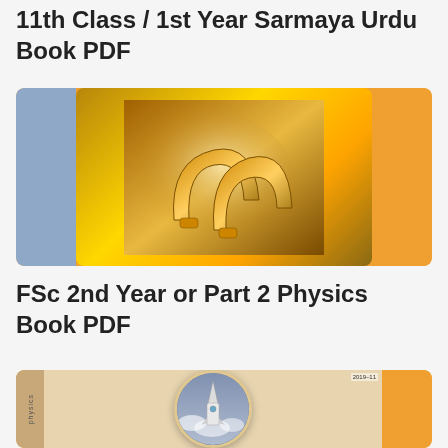11th Class / 1st Year Sarmaya Urdu Book PDF
[Figure (photo): Book cover image for Physics with horseshoe magnets on golden background, orange border with blue side panels]
FSc 2nd Year or Part 2 Physics Book PDF
[Figure (photo): Book cover with rocket launching into cloudy sky shown in circular frame, orange background, with book spine visible]